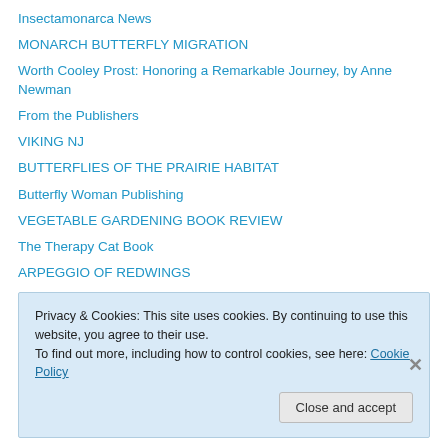Insectamonarca News
MONARCH BUTTERFLY MIGRATION
Worth Cooley Prost: Honoring a Remarkable Journey, by Anne Newman
From the Publishers
VIKING NJ
BUTTERFLIES OF THE PRAIRIE HABITAT
Butterfly Woman Publishing
VEGETABLE GARDENING BOOK REVIEW
The Therapy Cat Book
ARPEGGIO OF REDWINGS
MANY WATERS
Privacy & Cookies: This site uses cookies. By continuing to use this website, you agree to their use. To find out more, including how to control cookies, see here: Cookie Policy
Close and accept